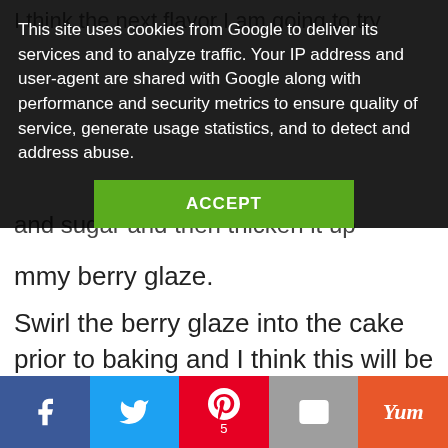I think the next flavor I am going to try
This site uses cookies from Google to deliver its services and to analyze traffic. Your IP address and user-agent are shared with Google along with performance and security metrics to ensure quality of service, generate usage statistics, and to detect and address abuse.
ACCEPT
and sugar and then thicken it up
mmy berry glaze.
Swirl the berry glaze into the cake prior to baking and I think this will be a winner.
[Figure (photo): Food photo showing a white cup/mug and fork on a wooden table surface]
Facebook | Twitter | Pinterest 5 | Email | Yum